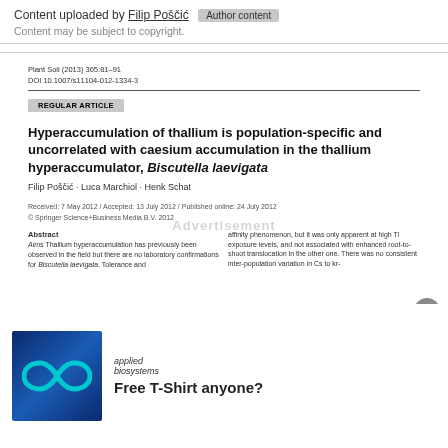Content uploaded by Filip Poščić  Author content
Content may be subject to copyright.
Plant Soil (2013) 365:81–91
DOI 10.1007/s11104-012-1334-3
REGULAR ARTICLE
Hyperaccumulation of thallium is population-specific and uncorrelated with caesium accumulation in the thallium hyperaccumulator, Biscutella laevigata
Filip Poščić · Luca Marchiol · Henk Schat
Received: 7 May 2012 / Accepted: 13 July 2012 / Published online: 24 July 2012
© Springer Science+Business Media B.V. 2012
Abstract
Aims Thallium hyperaccumulation has previously been observed in the field but there are no laboratory confirmations for Biscutella laevigata. Tolerance and...
affinity phenomenon, but it was only apparent at high Tl exposure levels, and not associated with enhanced root-to-shoot translocation in the other one. There was no consistent inter-population variation in Cs to kr-
[Figure (advertisement): Applied Biosystems advertisement with blue infinity logo and text 'Free T-Shirt anyone?']